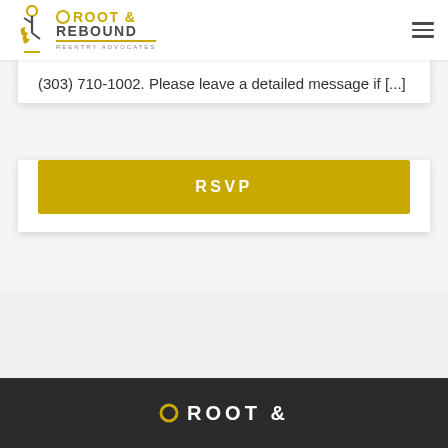Root & Rebound — Reentry Advocates
(303) 710-1002. Please leave a detailed message if [...]
RSVP
[Figure (logo): Root & Rebound Reentry Advocates logo in dark footer]
ROOT &